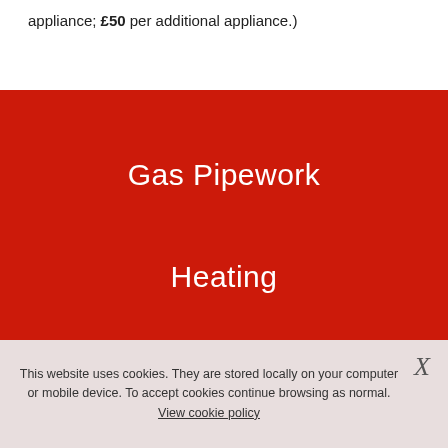appliance; £50 per additional appliance.)
Gas Pipework
Heating
[Figure (other): Broken/placeholder image icon in bottom-left of red section]
This website uses cookies. They are stored locally on your computer or mobile device. To accept cookies continue browsing as normal. View cookie policy